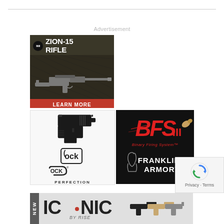Advertisement
[Figure (photo): IWI ZION-15 Rifle advertisement with rifle image and red LEARN MORE button]
[Figure (photo): Glock Perfection advertisement showing a Glock pistol with Glock logo]
[Figure (photo): Franklin Armory BFS III Binary Firing System advertisement with logo on black background]
[Figure (photo): ICONIC by RISE banner advertisement with NEW tab and firearm images]
[Figure (other): reCAPTCHA Privacy - Terms overlay widget]